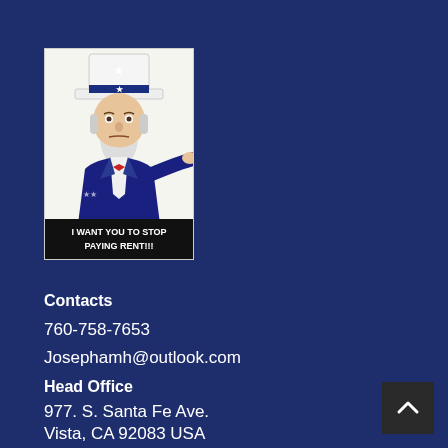[Figure (illustration): Uncle Sam parody image pointing at viewer with text 'I WANT YOU TO STOP PAYING RENT!!!' at the bottom]
Contacts
760-758-7653
Josephamh@outlook.com
Head Office
977. S. Santa Fe Ave.
Vista, CA 92083 USA